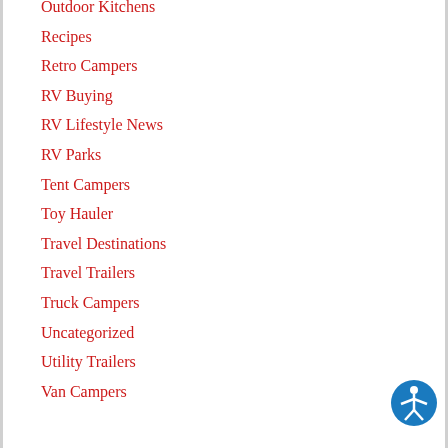Outdoor Kitchens
Recipes
Retro Campers
RV Buying
RV Lifestyle News
RV Parks
Tent Campers
Toy Hauler
Travel Destinations
Travel Trailers
Truck Campers
Uncategorized
Utility Trailers
Van Campers
[Figure (illustration): Blue circular accessibility icon with white figure of a person with arms and legs spread]